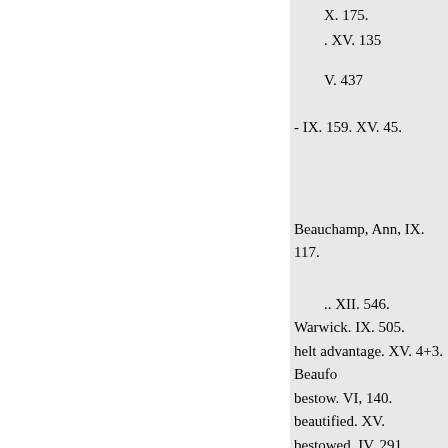X. 175.
. XV. 135
V. 437
- IX. 159. XV. 45.
Beauchamp, Ann, IX. 117.
.. XII. 546. Warwick. IX. 505.
helt advantage. XV. 4+3. Beaufo
bestow. VI, 140. beautified. XV.
bestowed. IV. 291. becalm. XV. 3
beftraught. VI. 403. becks. XI. 5
beltrid. X. 203, becomed. XIV. 5
XII. 86, 178. bedfellow. IX. 31
bestride. IX. 22. bedlam. X. 187.